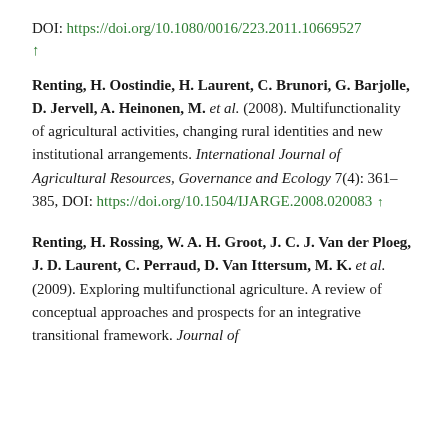DOI: https://doi.org/10.1080/0016/223.2011.10669527 ↑
Renting, H. Oostindie, H. Laurent, C. Brunori, G. Barjolle, D. Jervell, A. Heinonen, M. et al. (2008). Multifunctionality of agricultural activities, changing rural identities and new institutional arrangements. International Journal of Agricultural Resources, Governance and Ecology 7(4): 361–385, DOI: https://doi.org/10.1504/IJARGE.2008.020083 ↑
Renting, H. Rossing, W. A. H. Groot, J. C. J. Van der Ploeg, J. D. Laurent, C. Perraud, D. Van Ittersum, M. K. et al. (2009). Exploring multifunctional agriculture. A review of conceptual approaches and prospects for an integrative transitional framework. Journal of